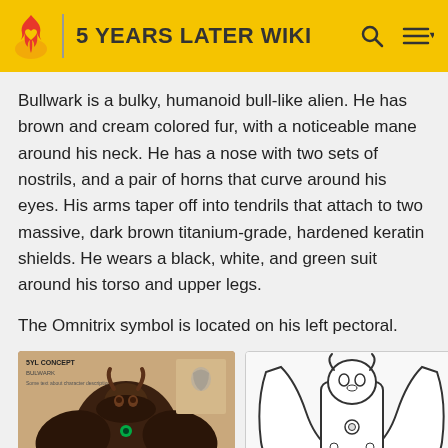5 YEARS LATER WIKI
Bullwark is a bulky, humanoid bull-like alien. He has brown and cream colored fur, with a noticeable mane around his neck. He has a nose with two sets of nostrils, and a pair of horns that curve around his eyes. His arms taper off into tendrils that attach to two massive, dark brown titanium-grade, hardened keratin shields. He wears a black, white, and green suit around his torso and upper legs.
The Omnitrix symbol is located on his left pectoral.
[Figure (illustration): Colored concept art illustration of Bullwark alien character, labeled '5YL CONCEPT' with 'BULWARK' text at bottom. Shows a large dark brown bull-like humanoid alien with massive shield-like arms.]
[Figure (illustration): Black and white sketch/line art of Bullwark alien character showing the character from a different angle with detailed linework.]